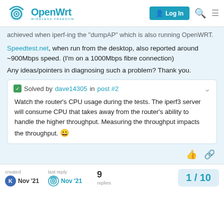OpenWrt — WIRELESS FREEDOM | Log In
achieved when iperf-ing the "dumpAP" which is also running OpenWRT.
Speedtest.net, when run from the desktop, also reported around ~900Mbps speed. (I'm on a 1000Mbps fibre connection)
Any ideas/pointers in diagnosing such a problem? Thank you.
✓ Solved by dave14305 in post #2

Watch the router's CPU usage during the tests. The iperf3 server will consume CPU that takes away from the router's ability to handle the higher throughput. Measuring the throughput impacts the throughput. 😀
created Nov '21 | last reply Nov '21 | 9 replies | 1 / 10